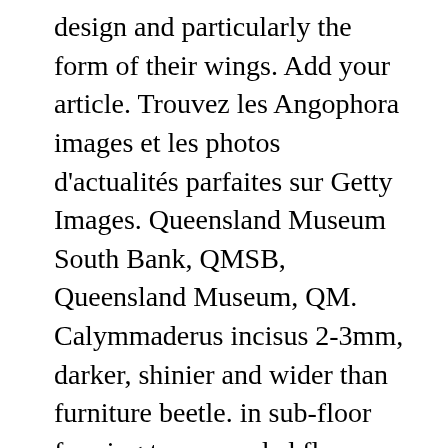design and particularly the form of their wings. Add your article. Trouvez les Angophora images et les photos d'actualités parfaites sur Getty Images. Queensland Museum South Bank, QMSB, Queensland Museum, QM. Calymmaderus incisus 2-3mm, darker, shinier and wider than furniture beetle. in sub-floor framing to suspended floors or in roof framing where soffits are not lined, a protective film finish, e.g. The Workshops Rail Museum, TWRM, Queensland Museum, QM. In natural situations, it is often found in association with other termite species. One of the major factors contributing to the success of beetles is their compact body design and particularly the form of their